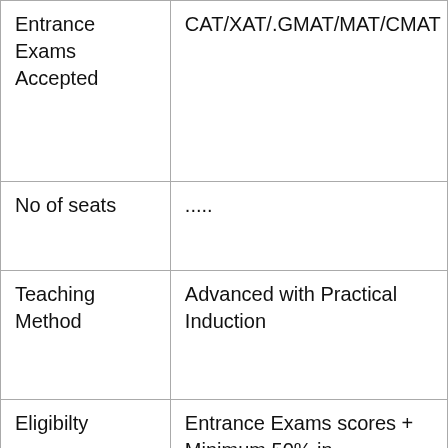| Field | Details |
| --- | --- |
| Entrance Exams Accepted | CAT/XAT/.GMAT/MAT/CMAT |
| No of seats | ..... |
| Teaching Method | Advanced with Practical Induction |
| Eligibilty | Entrance Exams scores + Minimum 50% in Graduation from UGC Recognised University or Institute.(45% for SC/ST candidates) |
|  | Xerox Copies of Class 10th,12th and Graduation Marsheets,Graduation Degree Certificates and |